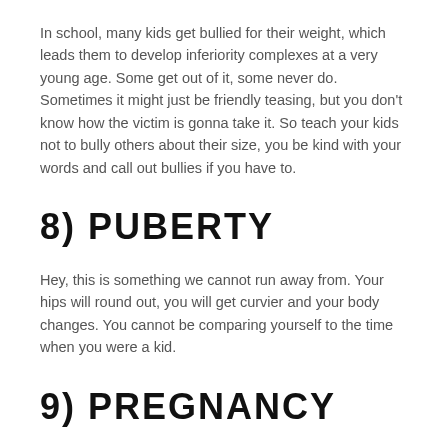In school, many kids get bullied for their weight, which leads them to develop inferiority complexes at a very young age. Some get out of it, some never do. Sometimes it might just be friendly teasing, but you don't know how the victim is gonna take it. So teach your kids not to bully others about their size, you be kind with your words and call out bullies if you have to.
8) PUBERTY
Hey, this is something we cannot run away from. Your hips will round out, you will get curvier and your body changes. You cannot be comparing yourself to the time when you were a kid.
9) PREGNANCY
Mothers are superwomen because they have the ability to create life within them. How beautiful is